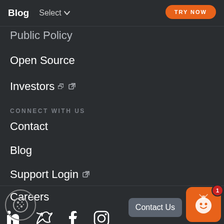Blog   Select   TRY NOW
Public Policy
Open Source
Investors ↗
CONNECT WITH US
Contact
Blog
Support Login ↗
Careers
[Figure (illustration): Social media icons: LinkedIn, Twitter, Facebook, Instagram]
[Figure (illustration): Cookie consent button (circle with cookie icon), Contact Us chat widget with ghost mascot and notification badge showing 1]